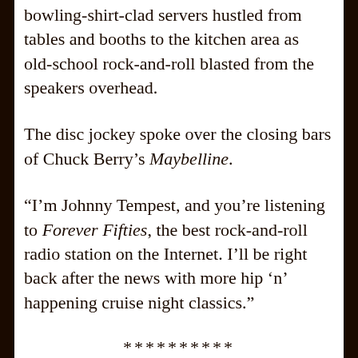bowling-shirt-clad servers hustled from tables and booths to the kitchen area as old-school rock-and-roll blasted from the speakers overhead.
The disc jockey spoke over the closing bars of Chuck Berry's Maybelline.
“I’m Johnny Tempest, and you’re listening to Forever Fifties, the best rock-and-roll radio station on the Internet. I’ll be right back after the news with more hip ‘n’ happening cruise night classics.”
**********
Colby McCain zeroed in on the radio broadcast as he lowered another basket of fries into the fryer. By day, the cocky, sometimes arrogant 23-